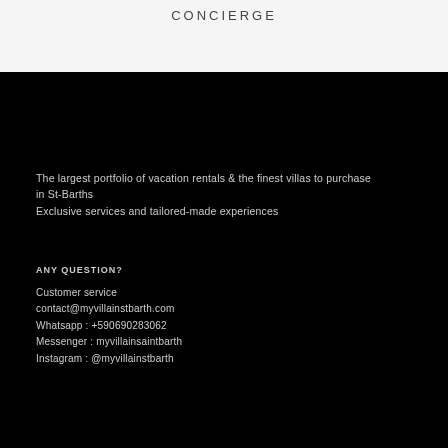CONCIERGE
The largest portfolio of vacation rentals & the finest villas to purchase in St-Barths
Exclusive services and tailored-made experiences
ANY QUESTION?
Customer service
contact@myvillainstbarth.com
Whatsapp : +590690283062
Messenger : myvillainsaintbarth
Instagram : @myvillainstbarth